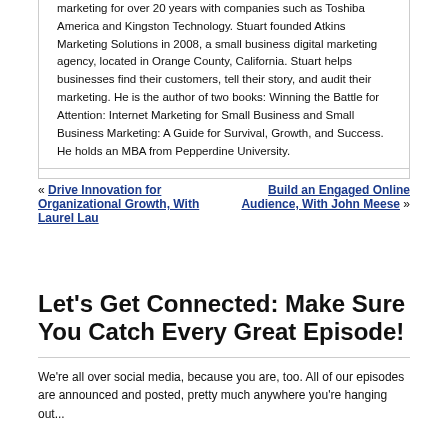marketing for over 20 years with companies such as Toshiba America and Kingston Technology. Stuart founded Atkins Marketing Solutions in 2008, a small business digital marketing agency, located in Orange County, California. Stuart helps businesses find their customers, tell their story, and audit their marketing. He is the author of two books: Winning the Battle for Attention: Internet Marketing for Small Business and Small Business Marketing: A Guide for Survival, Growth, and Success. He holds an MBA from Pepperdine University.
« Drive Innovation for Organizational Growth, With Laurel Lau    Build an Engaged Online Audience, With John Meese »
Let's Get Connected: Make Sure You Catch Every Great Episode!
We're all over social media, because you are, too. All of our episodes are announced and posted, pretty much anywhere you're hanging out...